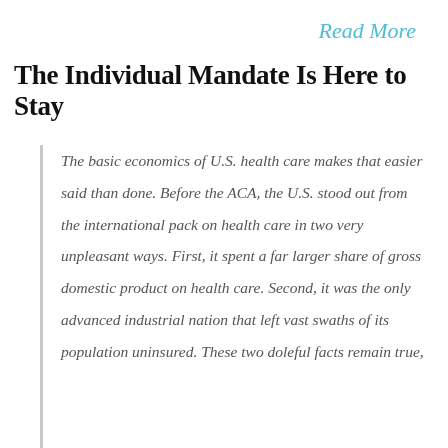Read More
The Individual Mandate Is Here to Stay
The basic economics of U.S. health care makes that easier said than done. Before the ACA, the U.S. stood out from the international pack on health care in two very unpleasant ways. First, it spent a far larger share of gross domestic product on health care. Second, it was the only advanced industrial nation that left vast swaths of its population uninsured. These two doleful facts remain true, although the fraction of Americans without health